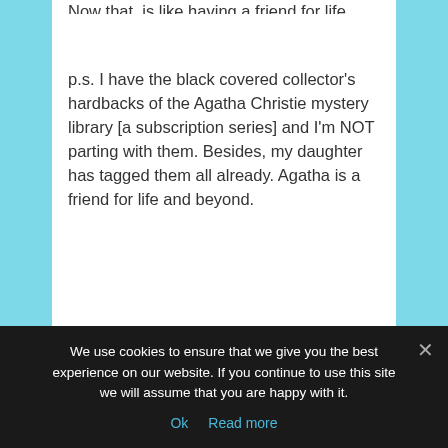Now that, is like having a friend for life.
p.s. I have the black covered collector's hardbacks of the Agatha Christie mystery library [a subscription series] and I'm NOT parting with them. Besides, my daughter has tagged them all already. Agatha is a friend for life and beyond.
What do you think? Do you buy paperbacks of the books and authors you like? Do you keep every autographed paperback of your writer friends? [I do]. Or do you let them go to share
We use cookies to ensure that we give you the best experience on our website. If you continue to use this site we will assume that you are happy with it.